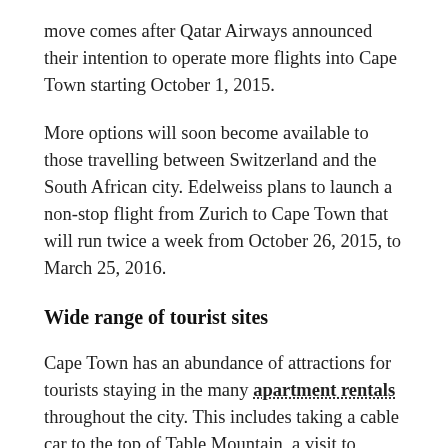move comes after Qatar Airways announced their intention to operate more flights into Cape Town starting October 1, 2015.
More options will soon become available to those travelling between Switzerland and the South African city. Edelweiss plans to launch a non-stop flight from Zurich to Cape Town that will run twice a week from October 26, 2015, to March 25, 2016.
Wide range of tourist sites
Cape Town has an abundance of attractions for tourists staying in the many apartment rentals throughout the city. This includes taking a cable car to the top of Table Mountain, a visit to Robben Island where Nelson Mandela was imprisoned, or a